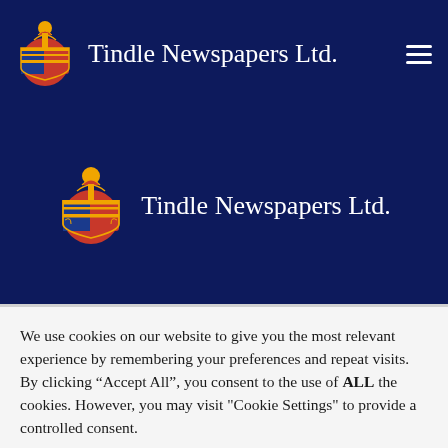Tindle Newspapers Ltd.
[Figure (logo): Tindle Newspapers Ltd. coat of arms logo with text in hero section]
We use cookies on our website to give you the most relevant experience by remembering your preferences and repeat visits. By clicking “Accept All”, you consent to the use of ALL the cookies. However, you may visit "Cookie Settings" to provide a controlled consent.
Cookie Settings | Accept All